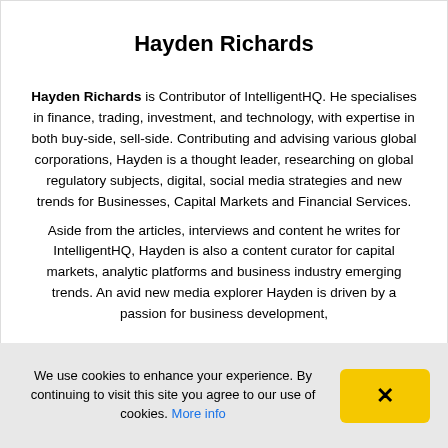Hayden Richards
Hayden Richards is Contributor of IntelligentHQ. He specialises in finance, trading, investment, and technology, with expertise in both buy-side, sell-side. Contributing and advising various global corporations, Hayden is a thought leader, researching on global regulatory subjects, digital, social media strategies and new trends for Businesses, Capital Markets and Financial Services. Aside from the articles, interviews and content he writes for IntelligentHQ, Hayden is also a content curator for capital markets, analytic platforms and business industry emerging trends. An avid new media explorer Hayden is driven by a passion for business development,
We use cookies to enhance your experience. By continuing to visit this site you agree to our use of cookies. More info